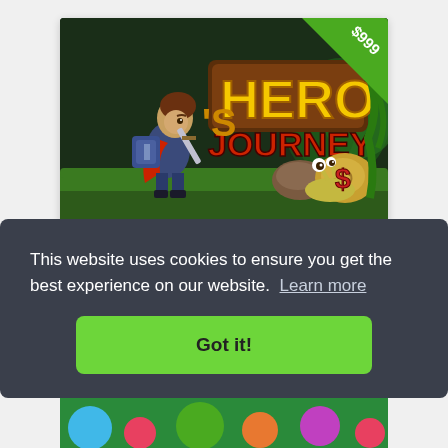[Figure (screenshot): Game product card for 'Hero's Journey' showing a 2D side-scrolling game with a knight character, 'HERO JOURNEY' title text, a snail enemy, and a green price badge showing $999 in the top-right corner.]
Hero's Journey
Hack and slash your way to victory
This website uses cookies to ensure you get the best experience on our website. Learn more
Got it!